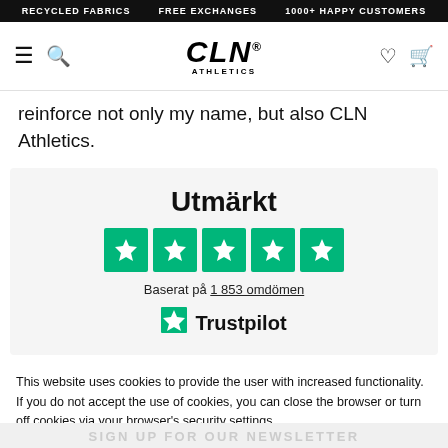RECYCLED FABRICS   FREE EXCHANGES   1000+ HAPPY CUSTOMERS
[Figure (logo): CLN Athletics logo with hamburger menu, search icon, heart and cart icons]
reinforce not only my name, but also CLN Athletics.
[Figure (infographic): Trustpilot rating widget showing 'Utmärkt' (Excellent) with 5 green stars, based on 1 853 omdömen (reviews), Trustpilot logo]
This website uses cookies to provide the user with increased functionality. If you do not accept the use of cookies, you can close the browser or turn off cookies via your browser's security settings.
OK   VIEW PRIVACY POLICY
SIGN UP FOR OUR NEWSLETTER